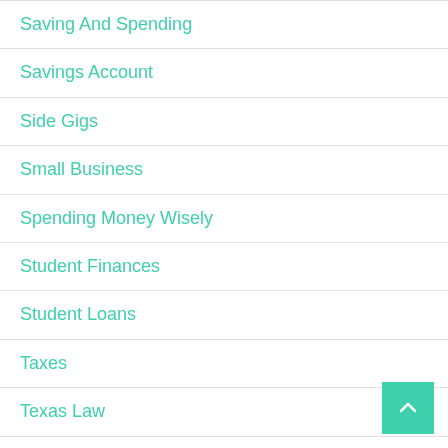Saving And Spending
Savings Account
Side Gigs
Small Business
Spending Money Wisely
Student Finances
Student Loans
Taxes
Texas Law
Trademarks and Copyright Law
Travel
Unemployment
Vehicle Blood and Crime Scene Clean Up